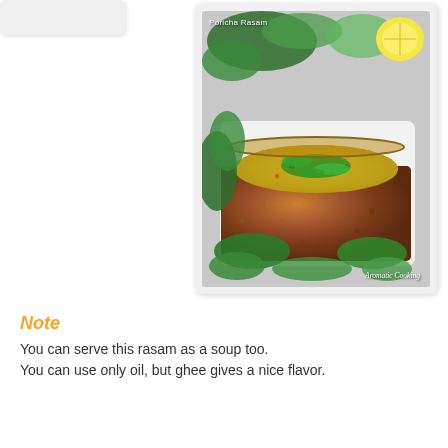[Figure (photo): A copper bowl filled with Poricha Rasam (South Indian soup/rasam) garnished with fresh coriander/cilantro leaves, placed on a white tray surrounded by fresh green herbs. A lemon half is visible in the top right background. Watermark text 'Poricha Rasam' top left and 'Aromatic Cooking' bottom right.]
Note
You can serve this rasam as a soup too.
You can use only oil, but ghee gives a nice flavor.